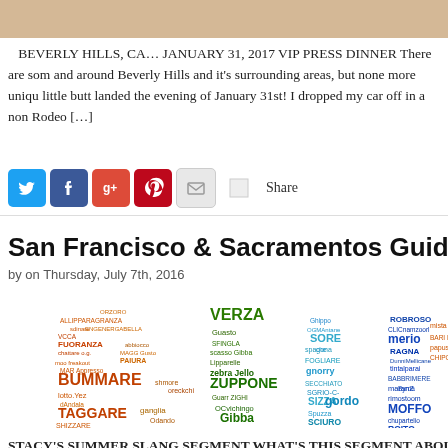[Figure (photo): Top cropped image of food or dining scene]
BEVERLY HILLS, CA… JANUARY 31, 2017 VIP PRESS DINNER There are som and around Beverly Hills and it's surrounding areas, but none more uniqu little butt landed the evening of January 31st! I dropped my car off in a non Rodeo […]
[Figure (other): Social sharing bar with Twitter, Facebook, Google+, Pinterest, Email icons and Share button]
San Francisco & Sacramentos Guide To Summer Sl
by on Thursday, July 7th, 2016
[Figure (illustration): Word cloud with Italian/slang words in colorful text forming letter shapes, including words like VERZA, FUORANZA, BUMMARE, TAGGARE, ZUPPONE, Gibba, Zito, JACARANDA, ZEEBRA, SLURPOSO, gordo, MOFFO, ROITO, ghetto, CIUFFO]
STACY'S SUMMER SLANG SEGMENT WHAT'S THIS SEGMENT ABOUT? As 80's a cruel, cruel summer…" But you know what?? It's even crueler, if you